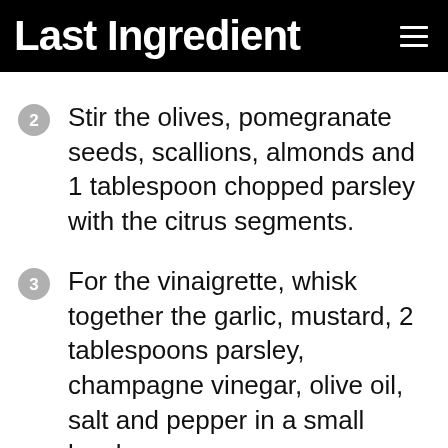Last Ingredient
Stir the olives, pomegranate seeds, scallions, almonds and 1 tablespoon chopped parsley with the citrus segments.
For the vinaigrette, whisk together the garlic, mustard, 2 tablespoons parsley, champagne vinegar, olive oil, salt and pepper in a small bowl.
Drizzle the vinaigrette on the salad tossing the ingredients.